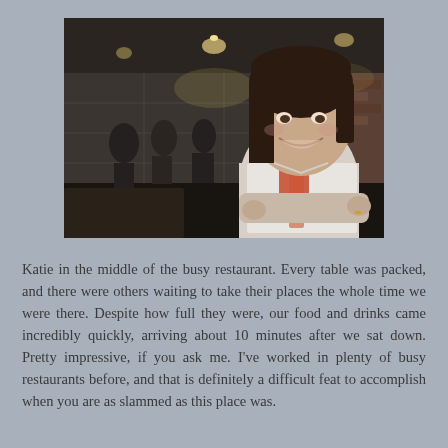[Figure (photo): A young woman with dark hair, wearing a white top with a red and white scarf, sitting with arms crossed and smiling at the camera inside a busy, dimly lit restaurant. Other diners and tables are visible in the background.]
Katie in the middle of the busy restaurant. Every table was packed, and there were others waiting to take their places the whole time we were there. Despite how full they were, our food and drinks came incredibly quickly, arriving about 10 minutes after we sat down. Pretty impressive, if you ask me. I've worked in plenty of busy restaurants before, and that is definitely a difficult feat to accomplish when you are as slammed as this place was.